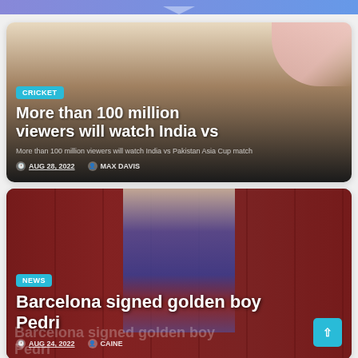[Figure (photo): Cricket news card with beige/cream decorative background and gradient overlay. Shows a CRICKET badge and headline about 100 million viewers watching India vs Pakistan Asia Cup match.]
More than 100 million viewers will watch India vs
More than 100 million viewers will watch India vs Pakistan Asia Cup match
AUG 28, 2022  MAX DAVIS
[Figure (photo): Barcelona football club locker room photo. A young player (Pedri) in Barcelona jersey holds a ball, standing in front of red lockers with player photos. NEWS badge overlaid.]
Barcelona signed golden boy Pedri
AUG 24, 2022  CAINE
Barcelona signed golden boy Pedri